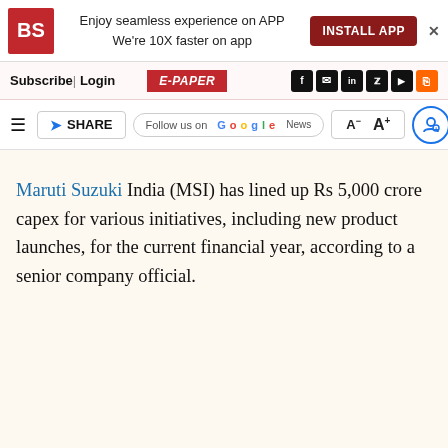BS | Enjoy seamless experience on APP | We're 10X faster on app | INSTALL APP
Subscribe | Login | E-PAPER | Social icons
SHARE | Follow us on Google News | A- A+ | User and Search icons
Maruti Suzuki India (MSI) has lined up Rs 5,000 crore capex for various initiatives, including new product launches, for the current financial year, according to a senior company official.